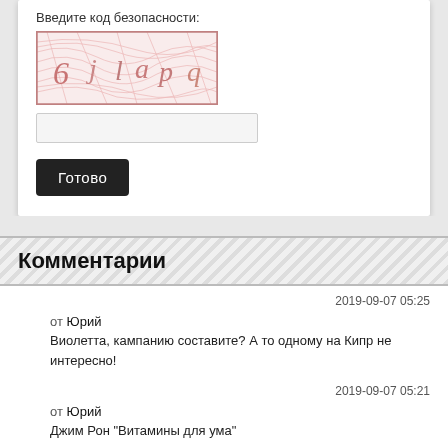Введите код безопасности:
[Figure (other): CAPTCHA image with distorted characters: 6 j l a p q on wavy line background]
(captcha input field)
Готово
Комментарии
2019-09-07 05:25
от Юрий
Виолетта, кампанию составите? А то одному на Кипр не интересно!
2019-09-07 05:21
от Юрий
Джим Рон "Витамины для ума"
2019-09-07 03:20
от Юрий
Kiss
2019-09-07 02:24
от Юрий
В 13 лет был первый секс с девушкой 24 лет, которая работала в милиции инспектором по делам несовершеннолетних!
2019-07-24 19:04